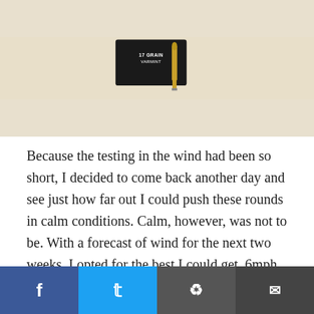[Figure (photo): Photograph of a rifle bullet/cartridge standing upright next to a black ammunition box labeled '17 GRAIN VARMINT' on a light beige background.]
Because the testing in the wind had been so short, I decided to come back another day and see just how far out I could push these rounds in calm conditions. Calm, however, was not to be. With a forecast of wind for the next two weeks, I opted for the best I could get, 6mph and steady. I moved straight to 450 meters, the longest distance I could get with an area of sand around my target. To keep the shooting realistic, I used a 10-inch MGM Hex gong. That target is a little over 2 MOA at that range, and light enough I could actually much movement, but a ment is enough.